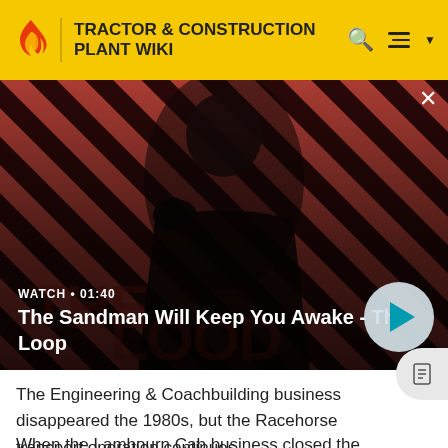TRACTOR & CONSTRUCTION PLANT WIKI
[Figure (screenshot): Video thumbnail showing a dark-cloaked figure with a raven on their shoulder against a red and black diagonal stripe background. Text overlay reads 'WATCH • 01:40' and 'The Sandman Will Keep You Awake - The Loop'. A teal play button circle is visible.]
The Engineering & Coachbuilding business disappeared the 1980s, but the Racehorse transport operation continues.
When the Lambourn Cab business closed the former